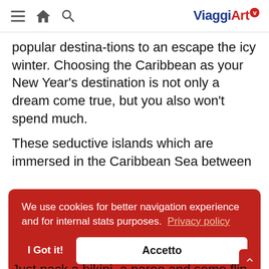ViaggiArt [navigation bar with menu, home, search icons]
popular destina-tions to an escape the icy winter. Choosing the Caribbean as your New Year's destination is not only a dream come true, but you also won't spend much.
These seductive islands which are immersed in the Caribbean Sea between
We use cookies for better navigation experience and for internal stats purposes. Privacy policy
I Got it!
Accetto
Just pack a bikini, a pareo and some flip